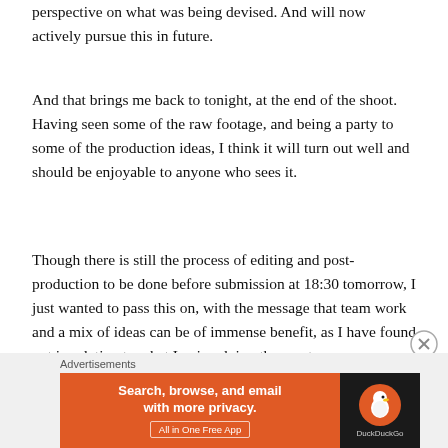perspective on what was being devised. And will now actively pursue this in future.
And that brings me back to tonight, at the end of the shoot. Having seen some of the raw footage, and being a party to some of the production ideas, I think it will turn out well and should be enjoyable to anyone who sees it.
Though there is still the process of editing and post-production to be done before submission at 18:30 tomorrow, I just wanted to pass this on, with the message that team work and a mix of ideas can be of immense benefit, as I have found out in relation to what I enjoy doing the most.
[Figure (other): DuckDuckGo advertisement banner with orange and dark sections. Left orange section reads 'Search, browse, and email with more privacy. All in One Free App'. Right dark section shows DuckDuckGo logo with duck icon and brand name.]